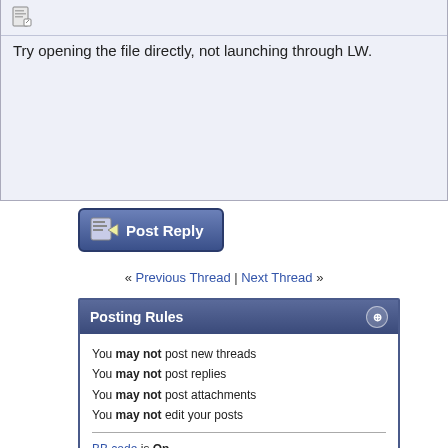[Figure (screenshot): Post icon (document/edit icon)]
Try opening the file directly, not launching through LW.
[Figure (screenshot): Post Reply button with icon]
« Previous Thread | Next Thread »
Posting Rules
You may not post new threads
You may not post replies
You may not post attachments
You may not edit your posts
BB code is On
Smilies are On
[IMG] code is On
HTML code is Off
Trackbacks are On
Pingbacks are On
Refbacks are On
Forum Rules
Similar Threads
| Thread | Thread Starter | Forum | Replies | Last Post |
| --- | --- | --- | --- | --- |
| How Do I |  |  |  |  |